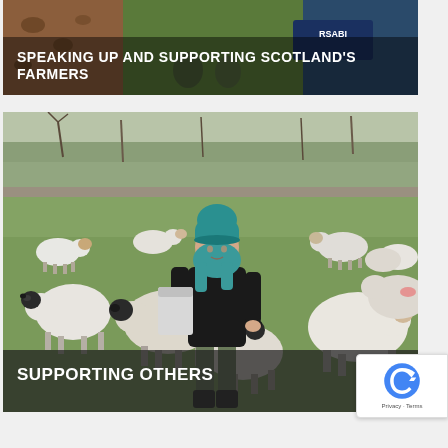[Figure (photo): Top banner image showing a presentation scene with warm brown and green tones, featuring the RSABI logo/sign in the background]
SPEAKING UP AND SUPPORTING SCOTLAND'S FARMERS
[Figure (photo): A woman with teal/blue hair wearing a black long-sleeve top, teal beanie hat, and grey trousers, standing in a field surrounded by a large flock of sheep (mostly white with black faces), holding a white bag, likely feeding them. Trees visible in the background. Outdoor farm setting.]
SUPPORTING OTHERS